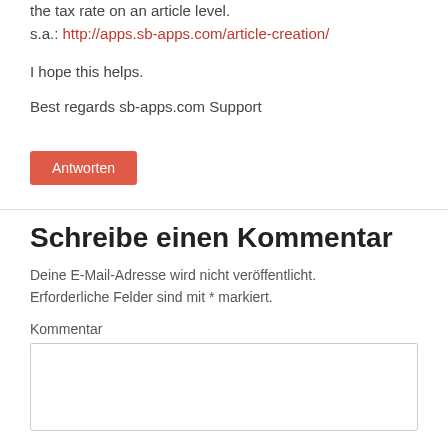the tax rate on an article level.
s.a.: http://apps.sb-apps.com/article-creation/
I hope this helps.
Best regards sb-apps.com Support
Antworten
Schreibe einen Kommentar
Deine E-Mail-Adresse wird nicht veröffentlicht. Erforderliche Felder sind mit * markiert.
Kommentar